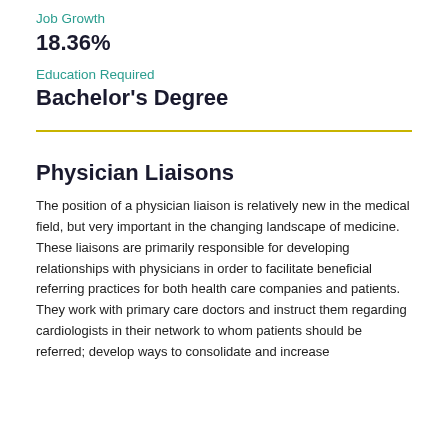Job Growth
18.36%
Education Required
Bachelor's Degree
Physician Liaisons
The position of a physician liaison is relatively new in the medical field, but very important in the changing landscape of medicine. These liaisons are primarily responsible for developing relationships with physicians in order to facilitate beneficial referring practices for both health care companies and patients. They work with primary care doctors and instruct them regarding cardiologists in their network to whom patients should be referred; develop ways to consolidate and increase